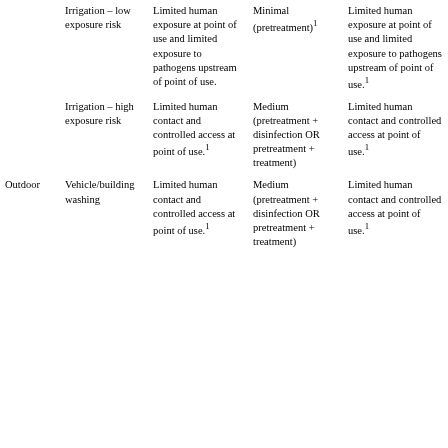|  | Irrigation – low exposure risk | Limited human exposure at point of use and limited exposure to pathogens upstream of point of use. | Minimal (pretreatment)1 | Limited human exposure at point of use and limited exposure to pathogens upstream of point of use.1 |
|  | Irrigation – high exposure risk | Limited human contact and controlled access at point of use.1 | Medium (pretreatment + disinfection OR pretreatment + treatment) | Limited human contact and controlled access at point of use.1 |
| Outdoor | Vehicle/building washing | Limited human contact and controlled access at point of use.1 | Medium (pretreatment + disinfection OR pretreatment + treatment) | Limited human contact and controlled access at point of use.1 |